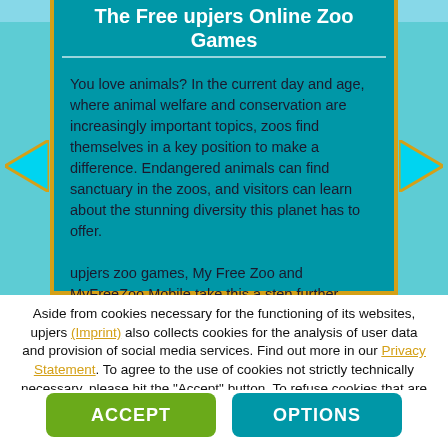The Free upjers Online Zoo Games
You love animals? In the current day and age, where animal welfare and conservation are increasingly important topics, zoos find themselves in a key position to make a difference. Endangered animals can find sanctuary in the zoos, and visitors can learn about the stunning diversity this planet has to offer.

upjers zoo games, My Free Zoo and MyFreeZoo Mobile take this a step further.
Aside from cookies necessary for the functioning of its websites, upjers (Imprint) also collects cookies for the analysis of user data and provision of social media services. Find out more in our Privacy Statement. To agree to the use of cookies not strictly technically necessary, please hit the "Accept" button. To refuse cookies that are not strictly technically necessary, select the "Options" panel. You can change your cookie settings at any time with the "Cookies" button in the toolbar.